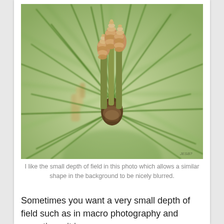[Figure (photo): Close-up macro photograph of pine tree new growth buds with reddish-brown cone-like structures surrounded by green pine needles radiating outward. Shallow depth of field blurs similar shapes in the background.]
I like the small depth of field in this photo which allows a similar shape in the background to be nicely blurred.
Sometimes you want a very small depth of field such as in macro photography and sometimes it is